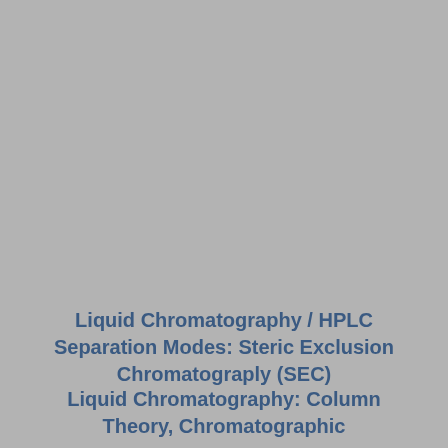Liquid Chromatography / HPLC Separation Modes: Steric Exclusion Chromatograply (SEC)
Liquid Chromatography: Column Theory, Chromatographic